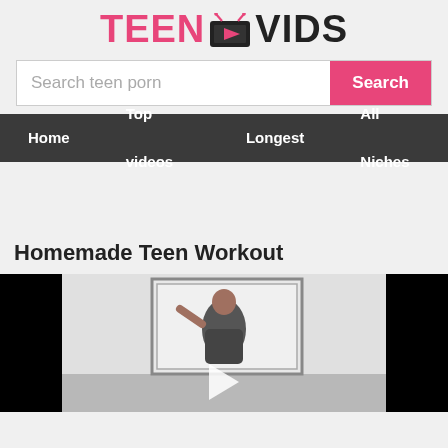TeenVids
Search teen porn
Home  Top videos  Longest  All Niches
Homemade Teen Workout
[Figure (screenshot): Video thumbnail showing a person exercising in a room with a mirror, flanked by black bars on both sides, with a play button at the bottom center.]